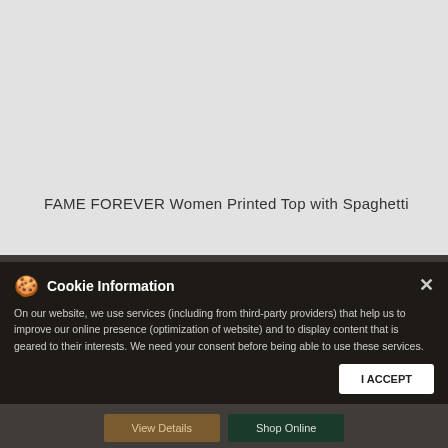[Figure (photo): Light gray product image area for a women's printed top with spaghetti straps]
FAME FOREVER Women Printed Top with Spaghetti
| Field | : | Value |
| --- | --- | --- |
| ID | : | 1000010236822 |
| Brand | : | FAME FOREVER |
| Price | : | ₹ 899 |
| Color | : | CORAL |
| Size available | : | M |
| Availability | : | In stock |
| Category | : | Women > Top Wear > Tops & Tees |
Cookie Information
On our website, we use services (including from third-party providers) that help us to improve our online presence (optimization of website) and to display content that is geared to their interests. We need your consent before being able to use these services.
View Details
Shop Online
I ACCEPT